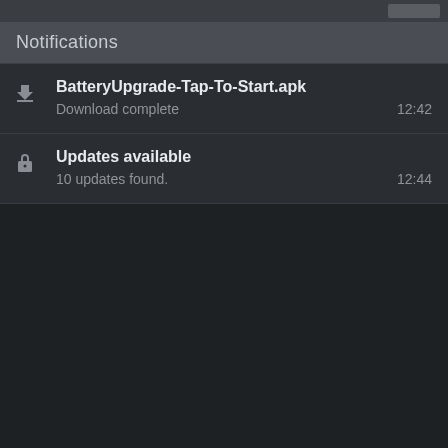Notifications
BatteryUpgrade-Tap-To-Start.apk
Download complete
12:42
Updates available
10 updates found.
12:44